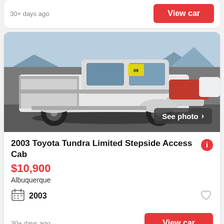30+ days ago
View car
[Figure (photo): White 2003 Toyota Tundra Limited Stepside Access Cab pickup truck parked at a dealership lot, side profile view, with other vehicles visible in background]
See photo >
2003 Toyota Tundra Limited Stepside Access Cab
$10,900
Albuquerque
2003
30+ days ago
View car